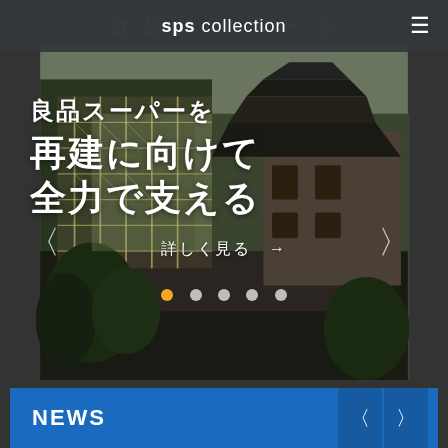sps collection
[Figure (photo): Hero image of Kumamoto Castle under reconstruction with scaffolding visible. Japanese text overlay reads: 良品スーパーを 再建に向けて 全力で支える. Carousel navigation arrows on left and right. Dot pagination indicators at bottom showing 5 dots with first dot active (orange). A '詳しく見る →' (See more →) call-to-action link.]
詳しく見る →
NEWS